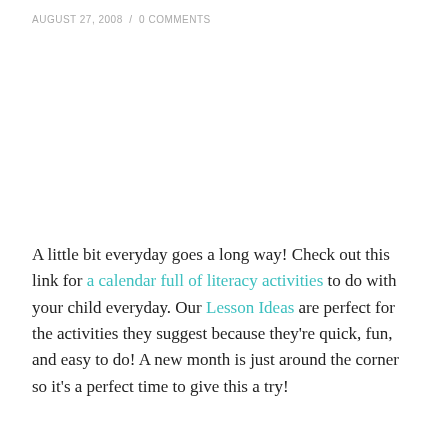AUGUST 27, 2008 / 0 COMMENTS
A little bit everyday goes a long way! Check out this link for a calendar full of literacy activities to do with your child everyday. Our Lesson Ideas are perfect for the activities they suggest because they're quick, fun, and easy to do! A new month is just around the corner so it's a perfect time to give this a try!